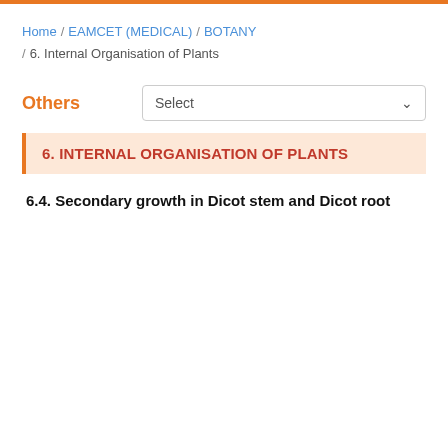Home / EAMCET (MEDICAL) / BOTANY / 6. Internal Organisation of Plants
Others
Select
6. INTERNAL ORGANISATION OF PLANTS
6.4. Secondary growth in Dicot stem and Dicot root